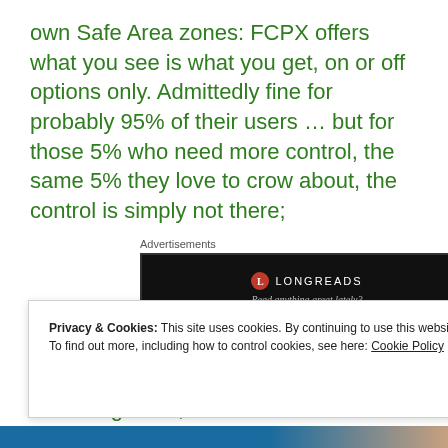own Safe Area zones: FCPX offers what you see is what you get, on or off options only. Admittedly fine for probably 95% of their users … but for those 5% who need more control, the same 5% they love to crow about, the control is simply not there;
Advertisements
[Figure (screenshot): Longreads advertisement banner on black background with red circle logo and text 'LONGREADS' and 'Read anything great lately?']
…to something more dramatic like being able to turn on real “background rendering”. Yes, we still a need
Privacy & Cookies: This site uses cookies. By continuing to use this website, you agree to their use.
To find out more, including how to control cookies, see here: Cookie Policy
Close and accept